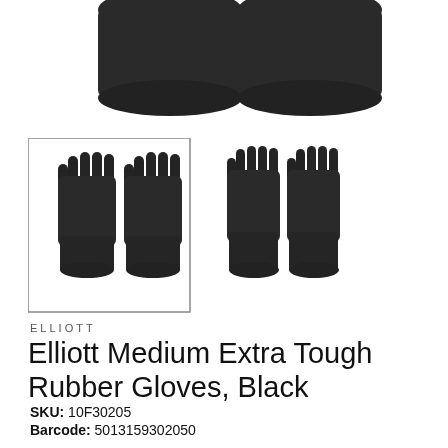[Figure (photo): Top portion of two black rubber gloves shown from above, close-cropped at top of page]
[Figure (photo): Two black rubber glove product images side by side: left one with a rectangular border (thumbnail selected state), right one without border. Each shows a pair of black heavy-duty rubber gloves.]
ELLIOTT
Elliott Medium Extra Tough Rubber Gloves, Black
SKU: 10F30205
Barcode: 5013159302050
£4.74 GBP